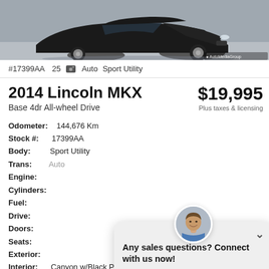[Figure (photo): Partial view of a dark-colored Lincoln MKX SUV from front/side angle, with AutoMediaGroup watermark in bottom right corner]
#17399AA  25  Auto  Sport Utility
2014 Lincoln MKX
Base 4dr All-wheel Drive
$19,995
Plus taxes & licensing
Odometer: 144,676 Km
Stock #: 17399AA
Body: Sport Utility
Trans: Auto
Engine:
Cylinders:
Fuel:
Drive:
Doors:
Seats:
Exterior:
Interior: Canyon w/Black Piping w/Premium Perforated Leathe
[Figure (screenshot): Chat widget overlay with salesperson avatar, 'Any sales questions? Connect with us now!' message, and TEXT and CHAT buttons]